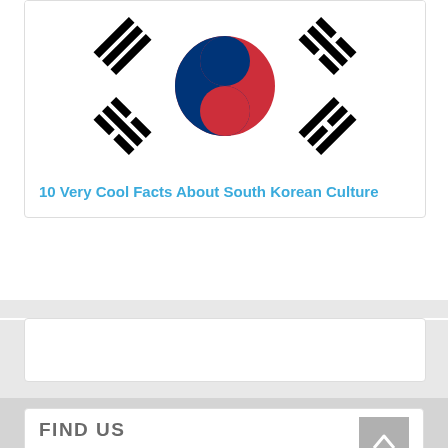[Figure (illustration): South Korean flag (Taegukgi) showing the red and blue yin-yang circle in the center and four black trigrams in the corners, on a white background.]
10 Very Cool Facts About South Korean Culture
FIND US
34 New House, 67-68 Hatton Garden, London EC1N